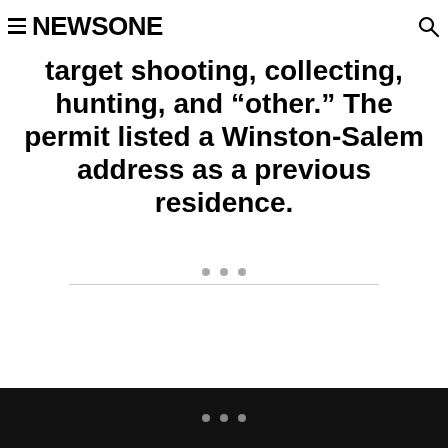NEWSONE
target shooting, collecting, hunting, and “other.”  The permit listed a Winston-Salem address as a previous residence.
[Figure (other): Ad placeholder with three gray dots and a horizontal rule]
Ad placeholder with three gray dots on black background